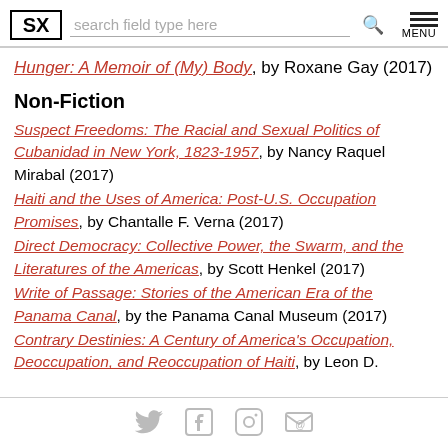SX | search field type here | MENU
Hunger: A Memoir of (My) Body, by Roxane Gay (2017)
Non-Fiction
Suspect Freedoms: The Racial and Sexual Politics of Cubanidad in New York, 1823-1957, by Nancy Raquel Mirabal (2017)
Haiti and the Uses of America: Post-U.S. Occupation Promises, by Chantalle F. Verna (2017)
Direct Democracy: Collective Power, the Swarm, and the Literatures of the Americas, by Scott Henkel (2017)
Write of Passage: Stories of the American Era of the Panama Canal, by the Panama Canal Museum (2017)
Contrary Destinies: A Century of America's Occupation, Deoccupation, and Reoccupation of Haiti, by Leon D.
Social media icons: Twitter, Facebook, Instagram, Email